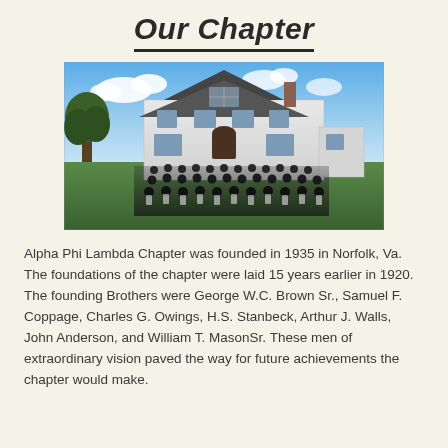Our Chapter
[Figure (photo): Group photo of fraternity brothers in formal attire (suits/tuxedos) posed in rows in front of a large white two-story house with a dark roof, trees visible to the left, blue sky with clouds in the background.]
Alpha Phi Lambda Chapter was founded in 1935 in Norfolk, Va.  The foundations of the chapter were laid 15 years earlier in 1920. The founding Brothers were George W.C. Brown Sr., Samuel F. Coppage, Charles G. Owings, H.S. Stanbeck, Arthur J. Walls, John Anderson, and William T. MasonSr. These men of extraordinary vision paved the way for future achievements the chapter would make.